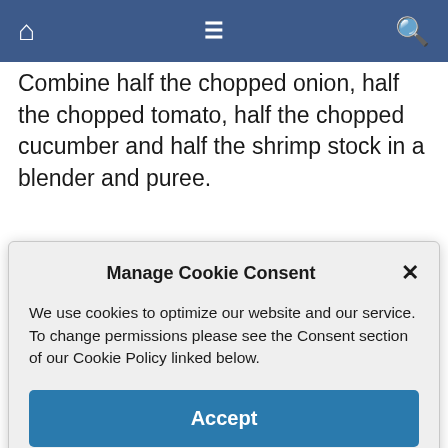Navigation bar with home, menu, and search icons
Combine half the chopped onion, half the chopped tomato, half the chopped cucumber and half the shrimp stock in a blender and puree.
Manage Cookie Consent

We use cookies to optimize our website and our service. To change permissions please see the Consent section of our Cookie Policy linked below.

Accept
Just before serving, chop the avocado, toss it with the lime juice and add it to the soup. Garnish with chopped cilantro. Makes 6 appetizer servings, less if served as a lunch or supper main course.
Link to source article